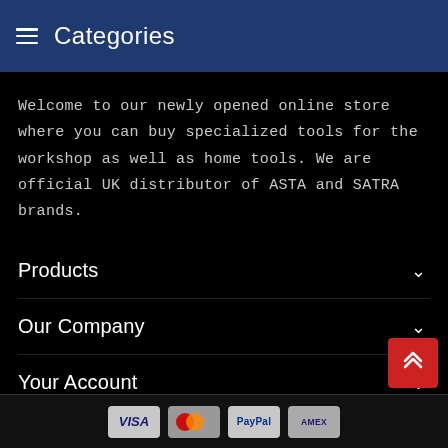≡ Categories
Welcome to our newly opened online store where you can buy specialized tools for the workshop as well as home tools. We are official UK distributor of ASTA and SATRA brands.
Products
Our Company
Your Account
Store Information
[Figure (other): Payment method icons: VISA, Mastercard, PayPal, AMEX]